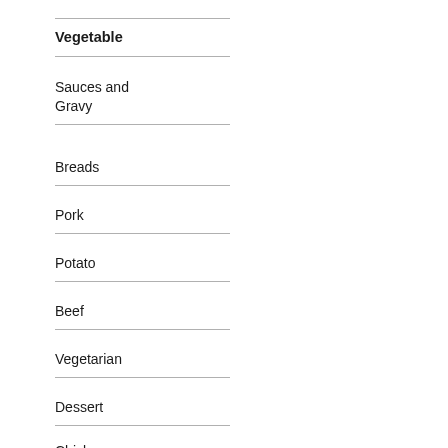Vegetable
Sauces and Gravy
Breads
Pork
Potato
Beef
Vegetarian
Dessert
Chicken